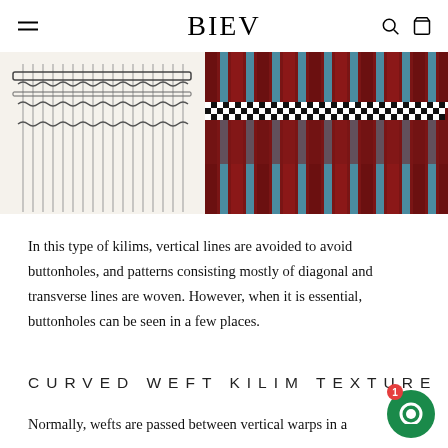BIEV
[Figure (illustration): Two images side by side: left is a black and white technical weaving diagram showing warp structure; right is a color photo of a kilim textile with red, blue, black and white checkered/striped pattern.]
In this type of kilims, vertical lines are avoided to avoid buttonholes, and patterns consisting mostly of diagonal and transverse lines are woven. However, when it is essential, buttonholes can be seen in a few places.
CURVED WEFT KILIM TEXTURE
Normally, wefts are passed between vertical warps in a